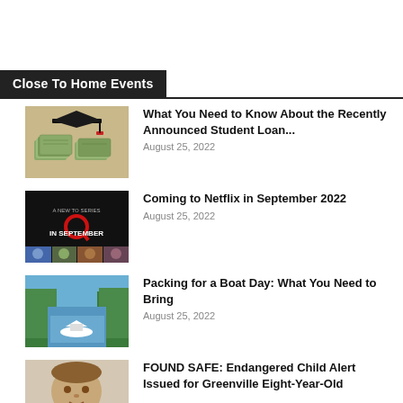Close To Home Events
What You Need to Know About the Recently Announced Student Loan... | August 25, 2022
Coming to Netflix in September 2022 | August 25, 2022
Packing for a Boat Day: What You Need to Bring | August 25, 2022
FOUND SAFE: Endangered Child Alert Issued for Greenville Eight-Year-Old